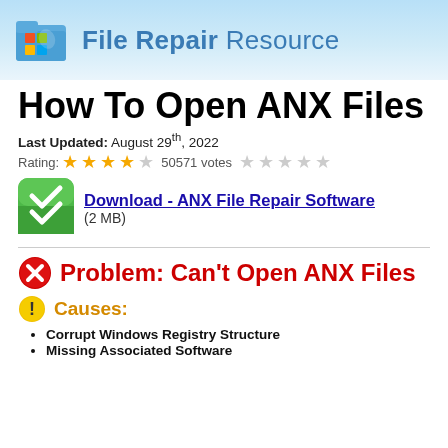File Repair Resource
How To Open ANX Files
Last Updated: August 29th, 2022
Rating: ★★★★☆ 50571 votes ☆☆☆☆☆
[Figure (logo): Green download icon with checkmark]
Download - ANX File Repair Software (2 MB)
Problem: Can't Open ANX Files
Causes:
Corrupt Windows Registry Structure
Missing Associated Software